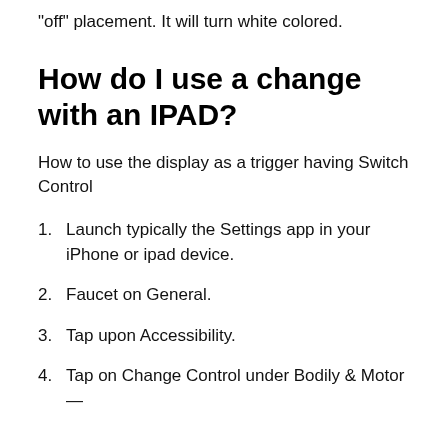“off” placement. It will turn white colored.
How do I use a change with an IPAD?
How to use the display as a trigger having Switch Control
1. Launch typically the Settings app in your iPhone or ipad device.
2. Faucet on General.
3. Tap upon Accessibility.
4. Tap on Change Control under Bodily & Motor —